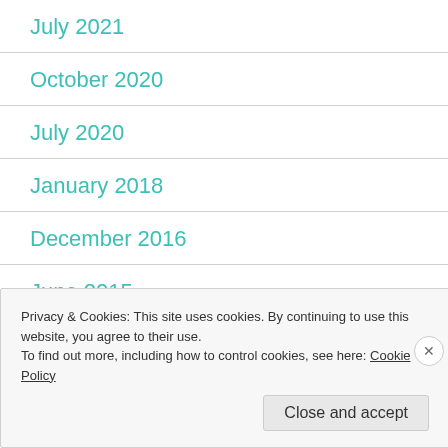July 2021
October 2020
July 2020
January 2018
December 2016
June 2015
Privacy & Cookies: This site uses cookies. By continuing to use this website, you agree to their use.
To find out more, including how to control cookies, see here: Cookie Policy
Close and accept